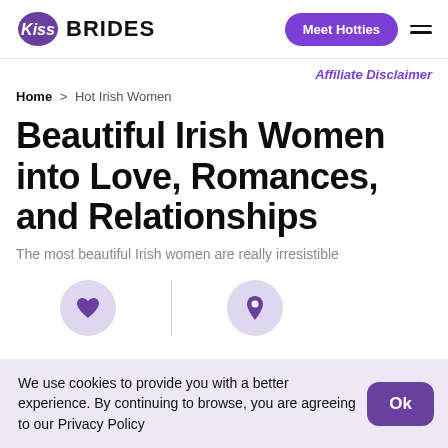Kiss Brides — Meet Hotties
Affiliate Disclaimer
Home > Hot Irish Women
Beautiful Irish Women into Love, Romances, and Relationships
The most beautiful Irish women are really irresistible
[Figure (illustration): Heart icon and location pin icon in light purple circles separated by a vertical line]
We use cookies to provide you with a better experience. By continuing to browse, you are agreeing to our Privacy Policy